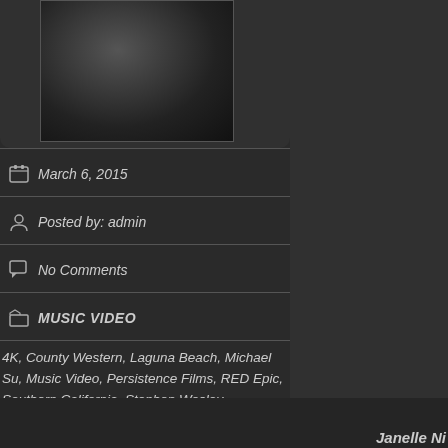[Figure (screenshot): Dark video thumbnail / player area with black screen and gray border, on dark background panel]
March 6, 2015
Posted by: admin
No Comments
MUSIC VIDEO
4K, County Western, Laguna Beach, Michael Su, Music Video, Persistence Films, RED Epic, Southern California, Stephen Wesley
Janelle Ni